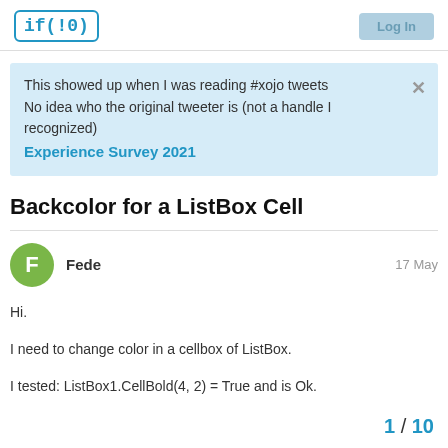if(!0) — Log In
This showed up when I was reading #xojo tweets
No idea who the original tweeter is (not a handle I recognized)
Experience Survey 2021
Backcolor for a ListBox Cell
Fede — 17 May
Hi.
I need to change color in a cellbox of ListBox.
I tested: ListBox1.CellBold(4, 2) = True and is Ok.

But, i need if exist similar comand to: ListB
2) = &cf3f6fA ???
1 / 10